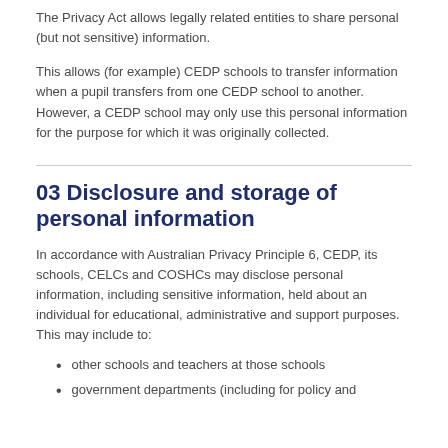The Privacy Act allows legally related entities to share personal (but not sensitive) information.
This allows (for example) CEDP schools to transfer information when a pupil transfers from one CEDP school to another. However, a CEDP school may only use this personal information for the purpose for which it was originally collected.
03 Disclosure and storage of personal information
In accordance with Australian Privacy Principle 6, CEDP, its schools, CELCs and COSHCs may disclose personal information, including sensitive information, held about an individual for educational, administrative and support purposes. This may include to:
other schools and teachers at those schools
government departments (including for policy and